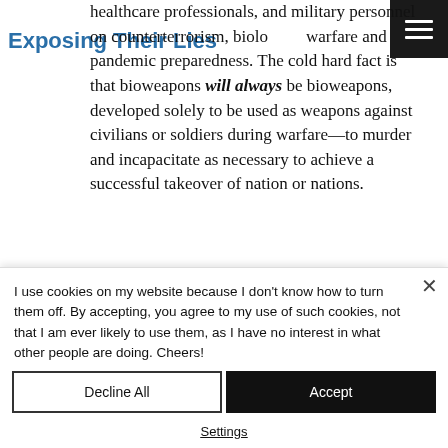Exposing Their Lies
healthcare professionals, and military personnel on counterterrorism, biological warfare and pandemic preparedness. The cold hard fact is that bioweapons will always be bioweapons, developed solely to be used as weapons against civilians or soldiers during warfare—to murder and incapacitate as necessary to achieve a successful takeover of nation or nations.
I use cookies on my website because I don't know how to turn them off. By accepting, you agree to my use of such cookies, not that I am ever likely to use them, as I have no interest in what other people are doing. Cheers!
Decline All
Accept
Settings